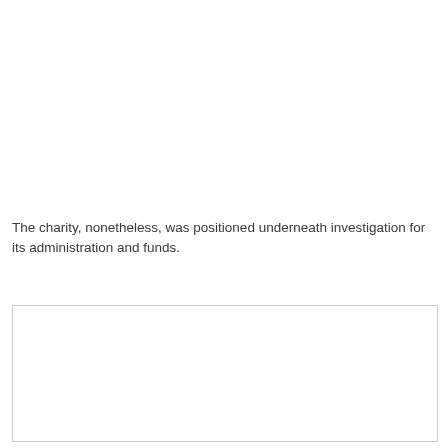The charity, nonetheless, was positioned underneath investigation for its administration and funds.
[Figure (other): Empty bordered box/frame, content not visible]